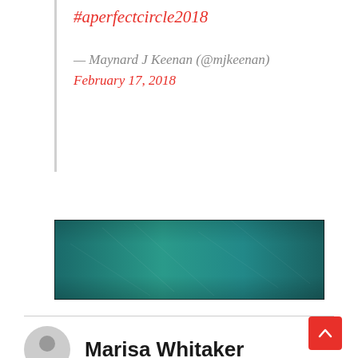#aperfectcircle2018
— Maynard J Keenan (@mjkeenan) February 17, 2018
[Figure (photo): A wide rectangular image with a teal/dark teal gradient background, resembling an album or promotional banner with subtle abstract line patterns.]
Marisa Whitaker